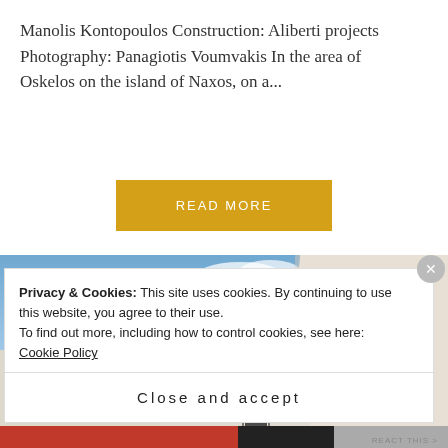Manolis Kontopoulos Construction: Aliberti projects Photography: Panagiotis Voumvakis In the area of Oskelos on the island of Naxos, on a...
READ MORE
[Figure (photo): Exterior view of a white Cycladic building against a blue sky with clouds, Naxos island, Greece]
Privacy & Cookies: This site uses cookies. By continuing to use this website, you agree to their use.
To find out more, including how to control cookies, see here: Cookie Policy
Close and accept